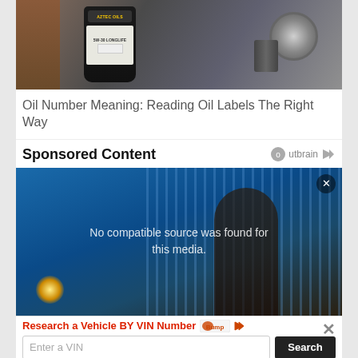[Figure (photo): Photo of a car engine compartment with an Aztec Oils 5W-30 Longlife oil bottle in the foreground]
Oil Number Meaning: Reading Oil Labels The Right Way
Sponsored Content
[Figure (photo): Photo of a person lying in bed in a blue-lit room, with a video player overlay showing 'No compatible source was found for this media.']
Research a Vehicle BY VIN Number
Enter a VIN
Search